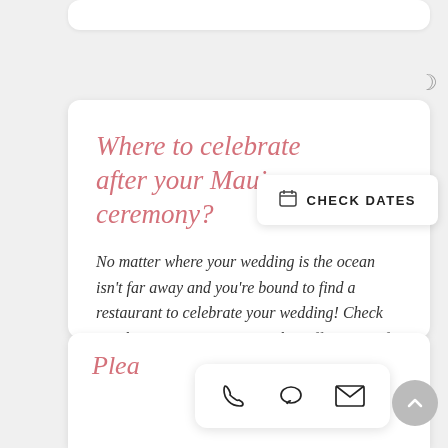Where to celebrate after your Maui ceremony?
No matter where your wedding is the ocean isn't far away and youre bound to find a restaurant to celebrate your wedding! Check out these Maui Restaurants that offer some of the best scenery on the Valley Isle and a perfect venue to enjoy.
Plea